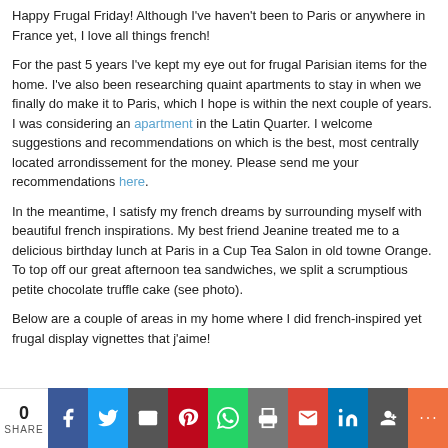Happy Frugal Friday! Although I've haven't been to Paris or anywhere in France yet, I love all things french!
For the past 5 years I've kept my eye out for frugal Parisian items for the home. I've also been researching quaint apartments to stay in when we finally do make it to Paris, which I hope is within the next couple of years.  I was considering an apartment in the Latin Quarter. I welcome suggestions and recommendations on which is the best, most centrally located arrondissement for the money. Please send me your recommendations here.
In the meantime, I satisfy my french dreams by surrounding myself with beautiful french inspirations. My best friend Jeanine treated me to a delicious birthday lunch at Paris in a Cup Tea Salon in old towne Orange. To top off our great afternoon tea sandwiches, we split a scrumptious petite chocolate truffle cake (see photo).
Below are a couple of areas in my home where I did french-inspired yet frugal display vignettes that j'aime!
0 SHARE | social share buttons